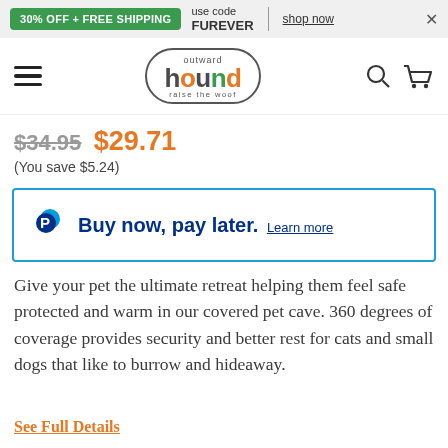30% OFF + FREE SHIPPING use code FUREVER shop now
[Figure (logo): Outward Hound logo with hamburger menu, search icon, and cart icon in navigation bar]
$34.95 $29.71
(You save $5.24)
[Figure (infographic): PayPal banner: Buy now, pay later. Learn more]
Give your pet the ultimate retreat helping them feel safe protected and warm in our covered pet cave. 360 degrees of coverage provides security and better rest for cats and small dogs that like to burrow and hideaway.
See Full Details